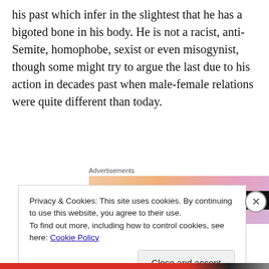his past which infer in the slightest that he has a bigoted bone in his body. He is not a racist, anti-Semite, homophobe, sexist or even misogynist, though some might try to argue the last due to his action in decades past when male-female relations were quite different than today.
[Figure (other): WordPress VIP advertisement banner with gradient background and 'Learn more' button]
Privacy & Cookies: This site uses cookies. By continuing to use this website, you agree to their use.
To find out more, including how to control cookies, see here: Cookie Policy
Close and accept